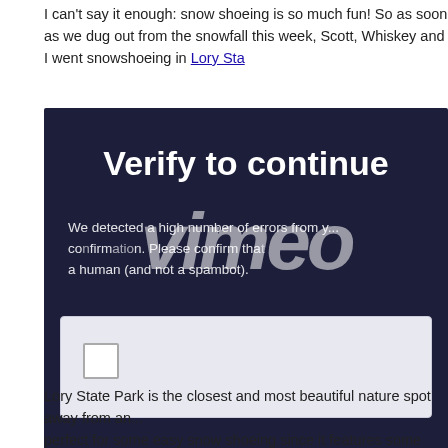I can't say it enough: snow shoeing is so much fun! So as soon as we dug out from the snowfall this week, Scott, Whiskey and I went snowshoeing in Lory Sta…
[Figure (screenshot): Vimeo 'Verify to continue' CAPTCHA overlay on a dark navy background. Large bold white text reads 'Verify to continue'. Vimeo italic watermark logo overlays the body text. Body text reads: 'We detected a high number of errors from y... co...confirm tha... a human (and not a spambot).' A white rounded rectangle contains a checkbox widget at the bottom.]
Lory State Park is the closest and most beautiful nature spot away from an... perfect for some easy snow shoeing since it features some trails that aren'…